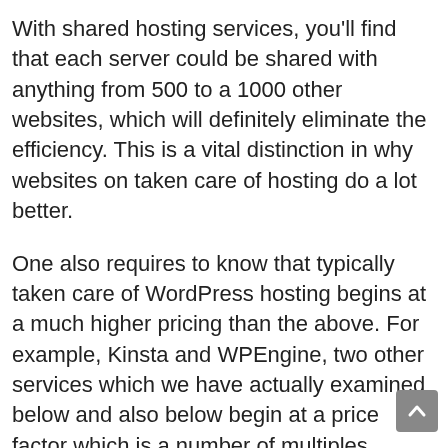With shared hosting services, you'll find that each server could be shared with anything from 500 to a 1000 other websites, which will definitely eliminate the efficiency. This is a vital distinction in why websites on taken care of hosting do a lot better.
One also requires to know that typically taken care of WordPress hosting begins at a much higher pricing than the above. For example, Kinsta and WPEngine, two other services which we have actually examined below and also below begin at a price factor which is a number of multiples greater.
The plans above are suitable for small company sites, where you can begin with the lower tier strategies and afterwards scale up as your organization grows without needing to g with a movement.